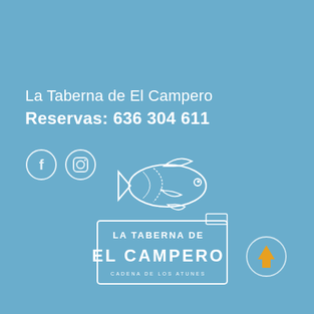La Taberna de El Campero
Reservas: 636 304 611
[Figure (illustration): Social media icons: Facebook and Instagram circles in white outline]
[Figure (logo): La Taberna de El Campero logo with a tuna fish illustration above text reading LA TABERNA DE EL CAMPERO, CADENA DE LOS ATUNES]
[Figure (illustration): Circle with upward arrow in golden/orange color for scroll-to-top]